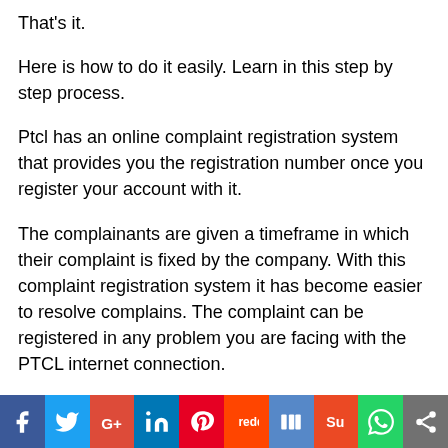That's it.
Here is how to do it easily. Learn in this step by step process.
Ptcl has an online complaint registration system that provides you the registration number once you register your account with it.
The complainants are given a timeframe in which their complaint is fixed by the company. With this complaint registration system it has become easier to resolve complains. The complaint can be registered in any problem you are facing with the PTCL internet connection.
Whether you are facing slow internet connection speed, or facing dial ton issue, or internet frequent disconnectivity, or if the
[Figure (infographic): Social media share bar with icons: Facebook (blue), Twitter (light blue), Google+ (red), LinkedIn (blue), Pinterest (red), Reddit (orange-red), Delicious/Digg (light blue), StumbleUpon (orange-red), WhatsApp (green), Share (grey)]